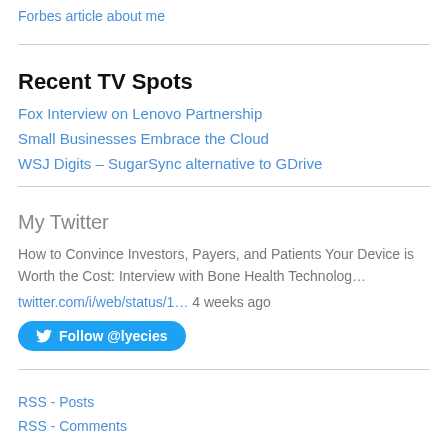Forbes article about me
Recent TV Spots
Fox Interview on Lenovo Partnership
Small Businesses Embrace the Cloud
WSJ Digits – SugarSync alternative to GDrive
My Twitter
How to Convince Investors, Payers, and Patients Your Device is Worth the Cost: Interview with Bone Health Technolog…
twitter.com/i/web/status/1… 4 weeks ago
Follow @lyecies
RSS - Posts
RSS - Comments